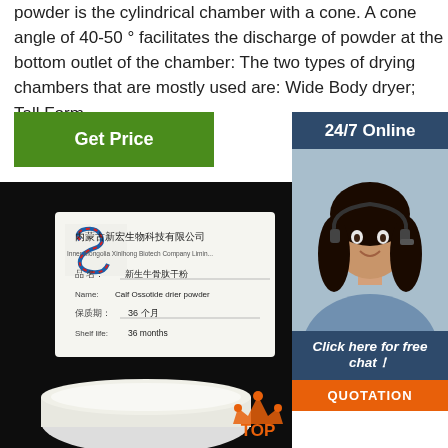powder is the cylindrical chamber with a cone. A cone angle of 40-50 ° facilitates the discharge of powder at the bottom outlet of the chamber: The two types of drying chambers that are mostly used are: Wide Body dryer; Tall Form ...
[Figure (other): Green 'Get Price' button]
[Figure (other): Customer service panel with '24/7 Online', agent photo, 'Click here for free chat!', and 'QUOTATION' button]
[Figure (photo): Product photo showing a container of Calf Ossotide drier powder with Chinese label from Inner Mongolia Xinlhong Biotech Company Limited, shelf life 36 months]